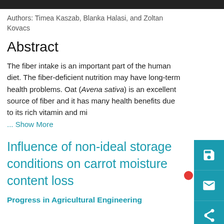Authors: Timea Kaszab, Blanka Halasi, and Zoltan Kovacs
Abstract
The fiber intake is an important part of the human diet. The fiber-deficient nutrition may have long-term health problems. Oat (Avena sativa) is an excellent source of fiber and it has many health benefits due to its rich vitamin and mi
... Show More
Influence of non-ideal storage conditions on carrot moisture content loss
Progress in Agricultural Engineering